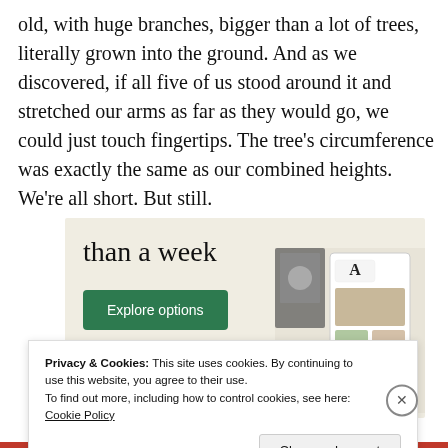old, with huge branches, bigger than a lot of trees, literally grown into the ground. And as we discovered, if all five of us stood around it and stretched our arms as far as they would go, we could just touch fingertips. The tree's circumference was exactly the same as our combined heights. We're all short. But still.
[Figure (screenshot): Advertisement banner with beige background showing text 'than a week', a green 'Explore options' button, and a screenshot of what appears to be a recipe/food website app interface]
Privacy & Cookies: This site uses cookies. By continuing to use this website, you agree to their use.
To find out more, including how to control cookies, see here: Cookie Policy
Close and accept